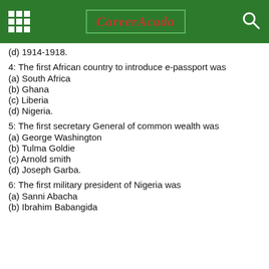CareerAcada
(d) 1914-1918.
4: The first African country to introduce e-passport was
(a) South Africa
(b) Ghana
(c) Liberia
(d) Nigeria.
5: The first secretary General of common wealth was
(a) George Washington
(b) Tulma Goldie
(c) Arnold smith
(d) Joseph Garba.
6: The first military president of Nigeria was
(a) Sanni Abacha
(b) Ibrahim Babangida